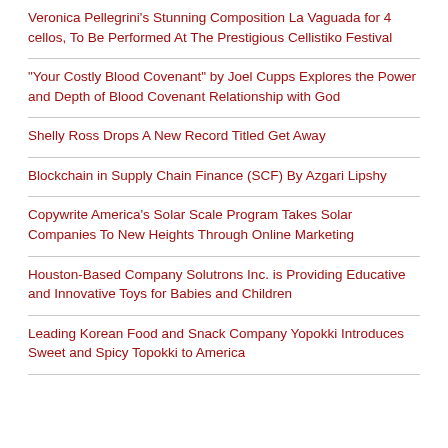Veronica Pellegrini's Stunning Composition La Vaguada for 4 cellos, To Be Performed At The Prestigious Cellistiko Festival
“Your Costly Blood Covenant” by Joel Cupps Explores the Power and Depth of Blood Covenant Relationship with God
Shelly Ross Drops A New Record Titled Get Away
Blockchain in Supply Chain Finance (SCF) By Azgari Lipshy
Copywrite America’s Solar Scale Program Takes Solar Companies To New Heights Through Online Marketing
Houston-Based Company Solutrons Inc. is Providing Educative and Innovative Toys for Babies and Children
Leading Korean Food and Snack Company Yopokki Introduces Sweet and Spicy Topokki to America